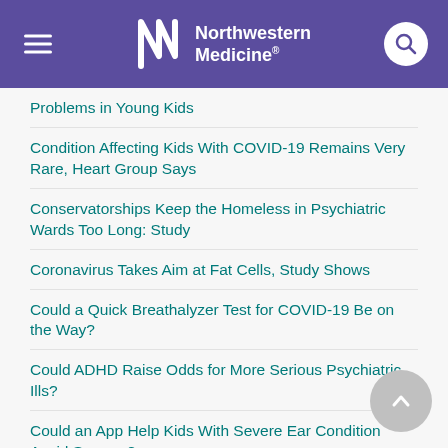Northwestern Medicine
Problems in Young Kids
Condition Affecting Kids With COVID-19 Remains Very Rare, Heart Group Says
Conservatorships Keep the Homeless in Psychiatric Wards Too Long: Study
Coronavirus Takes Aim at Fat Cells, Study Shows
Could a Quick Breathalyzer Test for COVID-19 Be on the Way?
Could ADHD Raise Odds for More Serious Psychiatric Ills?
Could an App Help Kids With Severe Ear Condition Avoid Surgery?
Could Stress…